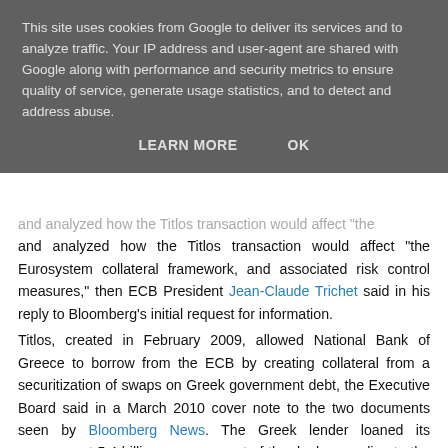This site uses cookies from Google to deliver its services and to analyze traffic. Your IP address and user-agent are shared with Google along with performance and security metrics to ensure quality of service, generate usage statistics, and to detect and address abuse.
LEARN MORE   OK
and analyzed how the Titlos transaction would affect "the Eurosystem collateral framework, and associated risk control measures," then ECB President Jean-Claude Trichet said in his reply to Bloomberg's initial request for information.
Titlos, created in February 2009, allowed National Bank of Greece to borrow from the ECB by creating collateral from a securitization of swaps on Greek government debt, the Executive Board said in a March 2010 cover note to the two documents seen by Bloomberg News. The Greek lender loaned its government 5.4 billion euros as part of the deal, according to the ECB note.
Collateral Rules
One of the cornerstones of the ECB's response to the crisis